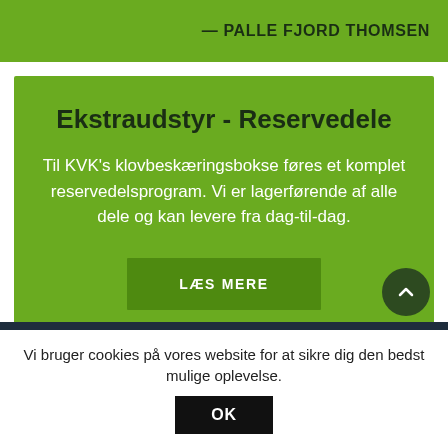— PALLE FJORD THOMSEN
Ekstraudstyr - Reservedele
Til KVK's klovbeskæringsbokse føres et komplet reservedelsprogram. Vi er lagerførende af alle dele og kan levere fra dag-til-dag.
LÆS MERE
Vi bruger cookies på vores website for at sikre dig den bedst mulige oplevelse.
OK